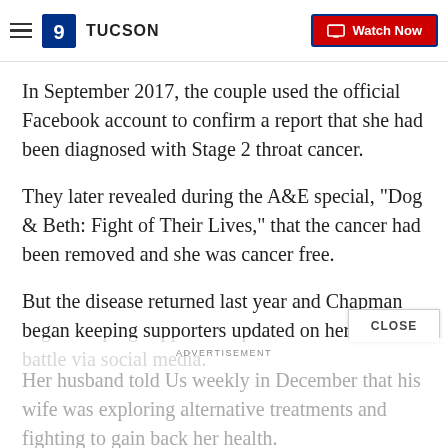9 TUCSON | Watch Now
In September 2017, the couple used the official Facebook account to confirm a report that she had been diagnosed with Stage 2 throat cancer.
They later revealed during the A&E special, "Dog & Beth: Fight of Their Lives," that the cancer had been removed and she was cancer free.
But the disease returned last year and Chapman began keeping supporters updated on her cancer battle via social media.
Her husband told Us weekly in December that his wife was exploring alternative treatments and fighting to gain back her health.